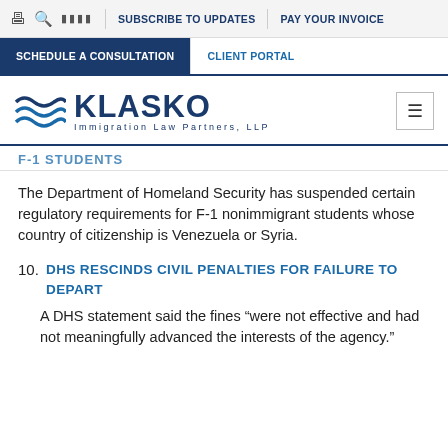SUBSCRIBE TO UPDATES | PAY YOUR INVOICE | SCHEDULE A CONSULTATION | CLIENT PORTAL
[Figure (logo): Klasko Immigration Law Partners, LLP logo with wave graphic]
F-1 STUDENTS
The Department of Homeland Security has suspended certain regulatory requirements for F-1 nonimmigrant students whose country of citizenship is Venezuela or Syria.
10. DHS RESCINDS CIVIL PENALTIES FOR FAILURE TO DEPART
A DHS statement said the fines “were not effective and had not meaningfully advanced the interests of the agency.”